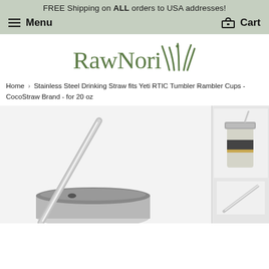FREE Shipping on ALL orders to USA addresses!
Menu   Cart
[Figure (logo): RawNori brand logo with stylized grass/plant icon in olive green, serif font]
Home › Stainless Steel Drinking Straw fits Yeti RTIC Tumbler Rambler Cups - CocoStraw Brand - for 20 oz
[Figure (photo): Close-up photo of a stainless steel drinking straw inserted in a tumbler cup lid, with a second smaller photo showing a full tumbler with straw and a straight straw beside it]